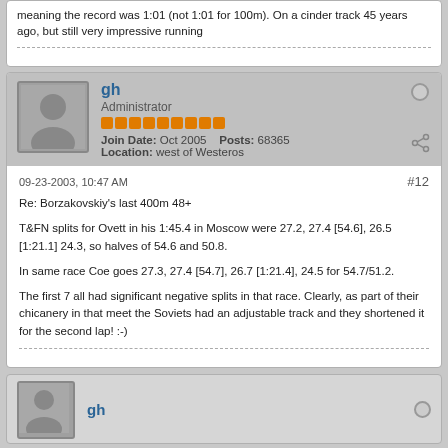meaning the record was 1:01 (not 1:01 for 100m). On a cinder track 45 years ago, but still very impressive running
gh
Administrator
Join Date: Oct 2005   Posts: 68365
Location: west of Westeros
09-23-2003, 10:47 AM
#12
Re: Borzakovskiy's last 400m 48+
T&FN splits for Ovett in his 1:45.4 in Moscow were 27.2, 27.4 [54.6], 26.5 [1:21.1] 24.3, so halves of 54.6 and 50.8.
In same race Coe goes 27.3, 27.4 [54.7], 26.7 [1:21.4], 24.5 for 54.7/51.2.
The first 7 all had significant negative splits in that race. Clearly, as part of their chicanery in that meet the Soviets had an adjustable track and they shortened it for the second lap! :-)